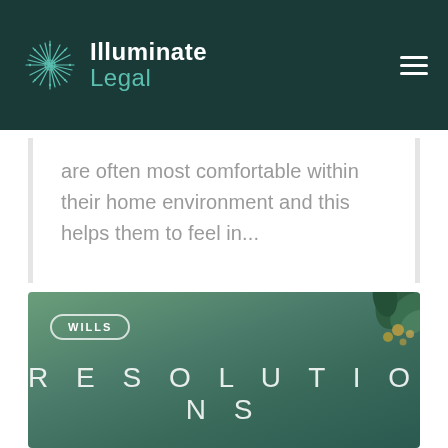[Figure (logo): Illuminate Legal logo with starburst icon on dark teal header bar with hamburger menu]
are often most comfortable within their home environment and this helps them to feel in...
[Figure (illustration): Green gradient card with WILLS category badge and RESOLUTIONS title text, decorative plant element at top right]